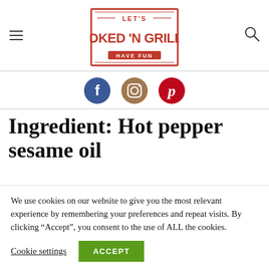Let's Smoked 'N Grilled Have Fun
[Figure (logo): Let's Smoked 'N Grilled Have Fun logo in red with rectangular border]
[Figure (infographic): Social media icons: Facebook (blue circle with f), Instagram (brown circle with camera), Pinterest (red circle with P)]
Ingredient: Hot pepper sesame oil
We use cookies on our website to give you the most relevant experience by remembering your preferences and repeat visits. By clicking “Accept”, you consent to the use of ALL the cookies.
Cookie settings  ACCEPT